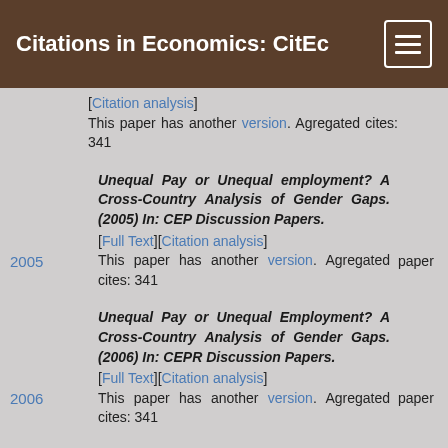Citations in Economics: CitEc
[Citation analysis] This paper has another version. Agregated cites: 341
Unequal Pay or Unequal employment? A Cross-Country Analysis of Gender Gaps.(2005) In: CEP Discussion Papers. paper [Full Text][Citation analysis] This paper has another version. Agregated cites: 341 2005
Unequal Pay or Unequal Employment? A Cross-Country Analysis of Gender Gaps.(2006) In: CEPR Discussion Papers. paper [Full Text][Citation analysis] This paper has another version. Agregated cites: 341 2006